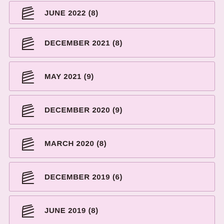JUNE 2022 (8)
DECEMBER 2021 (8)
MAY 2021 (9)
DECEMBER 2020 (9)
MARCH 2020 (8)
DECEMBER 2019 (6)
JUNE 2019 (8)
DECEMBER 2018 (3)